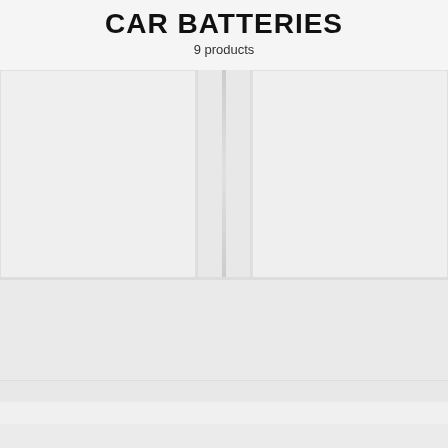CAR BATTERIES
9 products
[Figure (other): Product grid layout showing car battery product tiles arranged in a 2-column grid with a center divider. Upper section shows two large product image placeholders side by side. Lower section shows a row of smaller product listing placeholders with horizontal rule separators.]